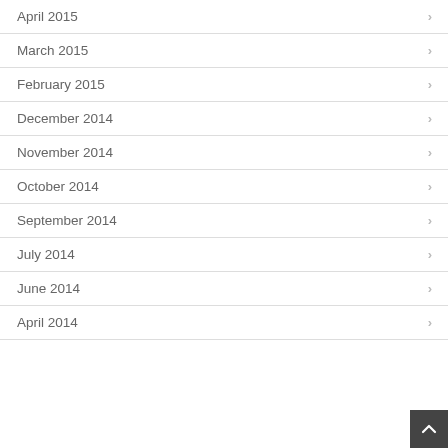April 2015
March 2015
February 2015
December 2014
November 2014
October 2014
September 2014
July 2014
June 2014
April 2014